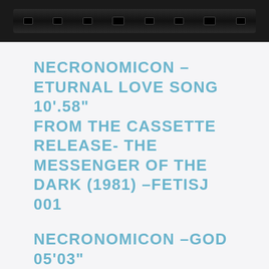[Figure (photo): Black cassette tape mechanism / bar with holes, photographed against dark background]
NECRONOMICON – ETURNAL LOVE SONG 10'.58" FROM THE CASSETTE RELEASE- THE MESSENGER OF THE DARK (1981) –FETISJ 001
NECRONOMICON –GOD 05'03" FROM THE CASSETTE RELEASE- SPORT (1982) – FETISJ 003
NECRONOMICON -THE TOP 04'14" FROM THE CASSETTE